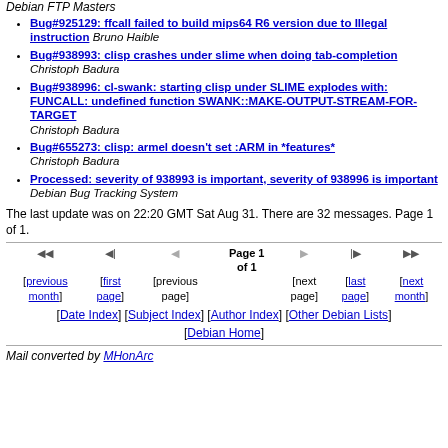Debian FTP Masters
Bug#925129: ffcall failed to build mips64 R6 version due to Illegal instruction Bruno Haible
Bug#938993: clisp crashes under slime when doing tab-completion Christoph Badura
Bug#938996: cl-swank: starting clisp under SLIME explodes with: FUNCALL: undefined function SWANK::MAKE-OUTPUT-STREAM-FOR-TARGET Christoph Badura
Bug#655273: clisp: armel doesn't set :ARM in *features* Christoph Badura
Processed: severity of 938993 is important, severity of 938996 is important Debian Bug Tracking System
The last update was on 22:20 GMT Sat Aug 31. There are 32 messages. Page 1 of 1.
Page 1 of 1 navigation: [previous month] [first page] [previous page] [next page] [last page] [next month]
[Date Index] [Subject Index] [Author Index] [Other Debian Lists] [Debian Home]
Mail converted by MHonArc